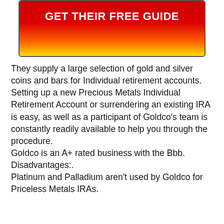[Figure (other): Red to yellow gradient button with white bold text reading GET THEIR FREE GUIDE]
They supply a large selection of gold and silver coins and bars for Individual retirement accounts.
Setting up a new Precious Metals Individual Retirement Account or surrendering an existing IRA is easy, as well as a participant of Goldco’s team is constantly readily available to help you through the procedure.
Goldco is an A+ rated business with the Bbb.
Disadvantages:.
Platinum and Palladium aren’t used by Goldco for Priceless Metals IRAs.